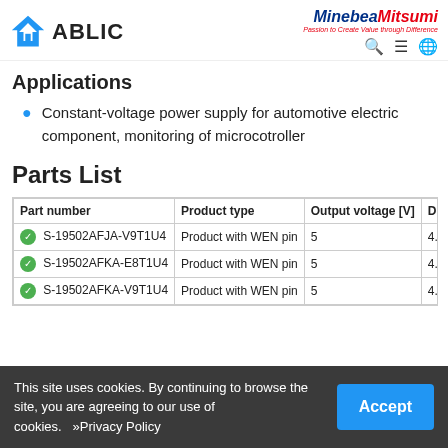ABLIC | MinebeaMitsumi - Passion to Create Value through Difference
Applications
Constant-voltage power supply for automotive electric component, monitoring of microcotroller
Parts List
| Part number | Product type | Output voltage [V] | Detect |
| --- | --- | --- | --- |
| S-19502AFJA-V9T1U4 | Product with WEN pin | 5 | 4.7 |
| S-19502AFKA-E8T1U4 | Product with WEN pin | 5 | 4.6 |
| S-19502AFKA-V9T1U4 | Product with WEN pin | 5 | 4.6 |
This site uses cookies. By continuing to browse the site, you are agreeing to our use of cookies. »Privacy Policy